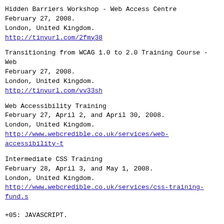Hidden Barriers Workshop - Web Access Centre
February 27, 2008.
London, United Kingdom.
http://tinyurl.com/2fmy38
Transitioning from WCAG 1.0 to 2.0 Training Course - Web
February 27, 2008.
London, United Kingdom.
http://tinyurl.com/yv33sh
Web Accessibility Training
February 27, April 2, and April 30, 2008.
London, United Kingdom.
http://www.webcredible.co.uk/services/web-accessibility-t
Intermediate CSS Training
February 28, April 3, and May 1, 2008.
London, United Kingdom.
http://www.webcredible.co.uk/services/css-training-fund.s
+05: JAVASCRIPT.
Dangers of Remote Javascript
By Nat Torkington.
"As we move to a widget web, where the goodies on your si
necessarily come from your site, it's worth sparing a tho
security. We at O'Reilly just got bit on perl.com, which
a porn site courtesy a piece of remotely-included Javascr
our advertisers was using an ads system that required o